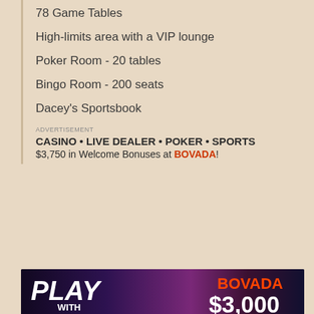78 Game Tables
High-limits area with a VIP lounge
Poker Room - 20 tables
Bingo Room - 200 seats
Dacey's Sportsbook
ADVERTISEMENT
CASINO • LIVE DEALER • POKER • SPORTS
$3,750 in Welcome Bonuses at BOVADA!
[Figure (photo): Bovada casino banner ad showing 'PLAY WITH LIVE DEALERS' on left and 'BOVADA $3,000 WELCOME BONUS' on right, purple/dark background with casino table imagery]
Restaurants
Nibi - classic steakhouse - 70 seats
Smoke 'n Fire - BBQ